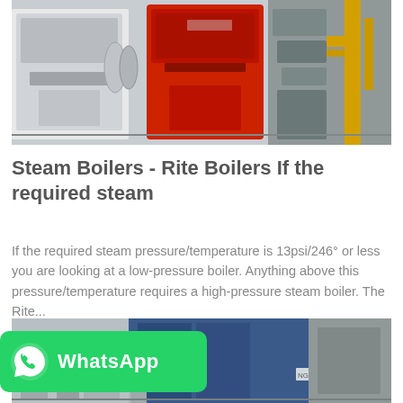[Figure (photo): Industrial steam boilers in a facility — red and white boiler units with yellow gas piping on the right]
Steam Boilers - Rite Boilers If the required steam
If the required steam pressure/temperature is 13psi/246° or less you are looking at a low-pressure boiler. Anything above this pressure/temperature requires a high-pressure steam boiler. The Rite...
[Figure (other): Get Price button — cyan/teal rounded rectangle]
[Figure (photo): Industrial boiler equipment, blue cabinet with red logo, pipes and machinery visible]
[Figure (other): WhatsApp contact button — green bar with WhatsApp icon and WhatsApp text]